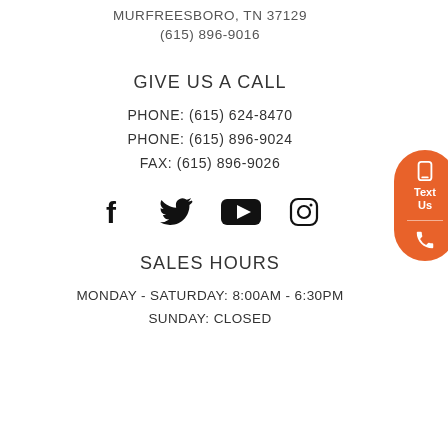MURFREESBORO, TN 37129
(615) 896-9016
GIVE US A CALL
PHONE: (615) 624-8470
PHONE: (615) 896-9024
FAX: (615) 896-9026
[Figure (other): Social media icons: Facebook, Twitter, YouTube, Instagram]
SALES HOURS
MONDAY - SATURDAY: 8:00AM - 6:30PM
SUNDAY: CLOSED